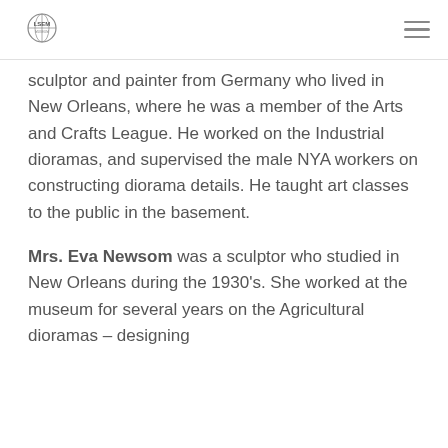LSEM
sculptor and painter from Germany who lived in New Orleans, where he was a member of the Arts and Crafts League. He worked on the Industrial dioramas, and supervised the male NYA workers on constructing diorama details. He taught art classes to the public in the basement.
Mrs. Eva Newsom was a sculptor who studied in New Orleans during the 1930’s. She worked at the museum for several years on the Agricultural dioramas – designing